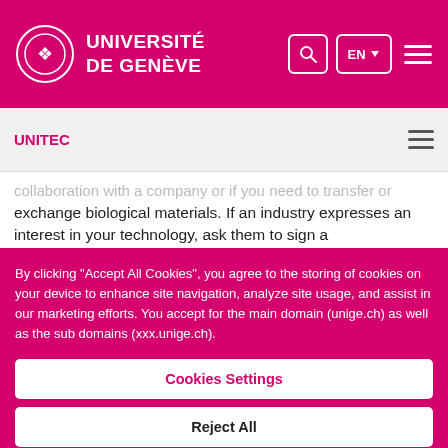UNIVERSITÉ DE GENÈVE
UNITEC
collaboration with a company or if you need to transfer or exchange biological materials. If an industry expresses an interest in your technology, ask them to sign a
By clicking "Accept All Cookies", you agree to the storing of cookies on your device to enhance site navigation, analyze site usage, and assist in our marketing efforts. You accept for the main domain (unige.ch) as well as the sub domains (xxx.unige.ch).
Cookies Settings
Reject All